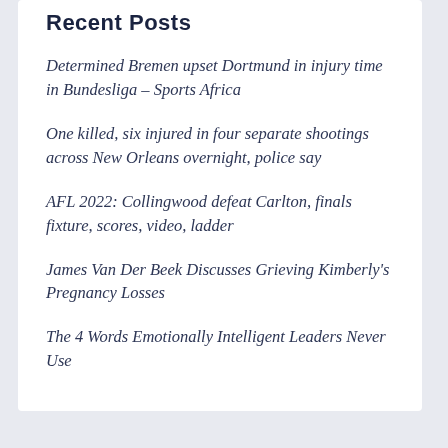Recent Posts
Determined Bremen upset Dortmund in injury time in Bundesliga – Sports Africa
One killed, six injured in four separate shootings across New Orleans overnight, police say
AFL 2022: Collingwood defeat Carlton, finals fixture, scores, video, ladder
James Van Der Beek Discusses Grieving Kimberly's Pregnancy Losses
The 4 Words Emotionally Intelligent Leaders Never Use